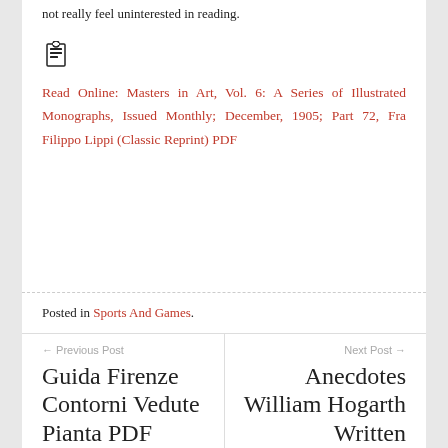not really feel uninterested in reading.
[Figure (illustration): Small book/document icon in black]
Read Online: Masters in Art, Vol. 6: A Series of Illustrated Monographs, Issued Monthly; December, 1905; Part 72, Fra Filippo Lippi (Classic Reprint) PDF
Posted in Sports And Games.
← Previous Post
Guida Firenze Contorni Vedute Pianta PDF Bf77fb147
Next Post →
Anecdotes William Hogarth Written